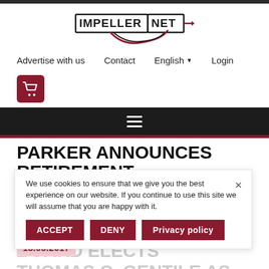[Figure (logo): Impeller.net logo with red and black swoosh design]
Advertise with us   Contact   English ▼   Login
[Figure (illustration): Shopping cart icon in dark red rounded square]
[Figure (illustration): Hamburger menu icon (three horizontal lines) on dark background]
PARKER ANNOUNCES RETIREMENT OF SUPPLY CHAIN VICE PRESIDENT JOHN G. DEDINSKY, BOARD ELECTS THOMAS C. GENTILE AS SUCCESSOR
We use cookies to ensure that we give you the best experience on our website. If you continue to use this site we will assume that you are happy with it.
18.05.2017